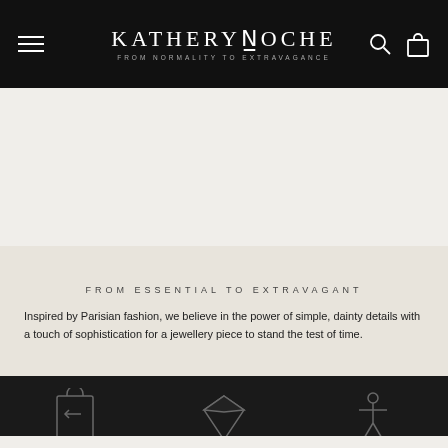KATHERYN LOCHE — FROM NORMALITY TO EXTRAVAGANCE
FROM ESSENTIAL TO EXTRAVAGANT
Inspired by Parisian fashion, we believe in the power of simple, dainty details with a touch of sophistication for a jewellery piece to stand the test of time.
[Figure (illustration): Three icon columns on dark background: a shield/return icon labeled 'Easy returns / Hassle free', a diamond icon labeled 'Durable & high quality material', and a figure/mannequin icon labeled 'World wide shipping by 2025']